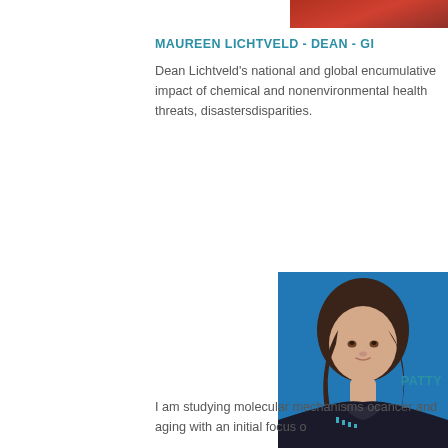[Figure (photo): Partial photo of Maureen Lichtveld, cropped at top right]
MAUREEN LICHTVELD - DEAN - G...
Dean Lichtveld's national and global en... cumulative impact of chemical and non... environmental health threats, disasters... disparities.
[Figure (photo): Portrait photo of Patty (last name cut off) against blue background, woman with brown hair wearing dark jacket]
PATTY...
I am studying molecular mechanisms o... cancer and aging with an initial focus o...